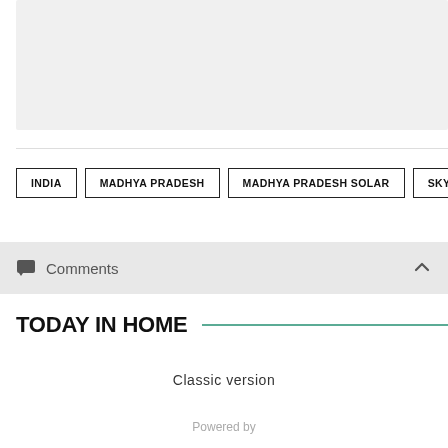[Figure (other): Gray placeholder image box at the top of the page]
INDIA
MADHYA PRADESH
MADHYA PRADESH SOLAR
SKYP…
Comments
TODAY IN HOME
Classic version
Powered by